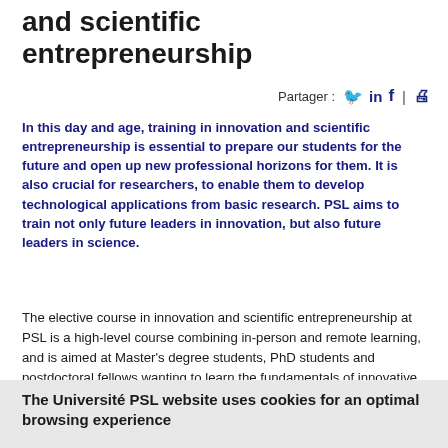and scientific entrepreneurship
Partager :
In this day and age, training in innovation and scientific entrepreneurship is essential to prepare our students for the future and open up new professional horizons for them. It is also crucial for researchers, to enable them to develop technological applications from basic research. PSL aims to train not only future leaders in innovation, but also future leaders in science.
The elective course in innovation and scientific entrepreneurship at PSL is a high-level course combining in-person and remote learning, and is aimed at Master's degree students, PhD students and postdoctoral fellows wanting to learn the fundamentals of innovative design methods and the challenges of entrepreneurial project design in the field of scientific research. The course
The Université PSL website uses cookies for an optimal browsing experience